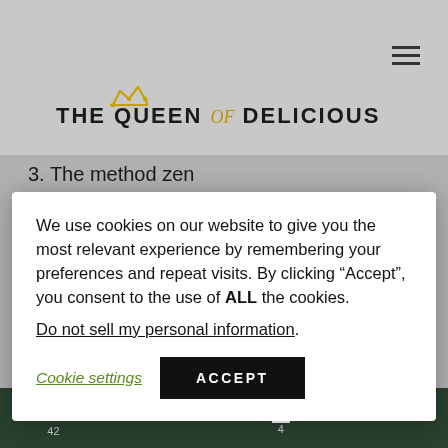THE QUEEN of DELICIOUS
3. The method zen
We use cookies on our website to give you the most relevant experience by remembering your preferences and repeat visits. By clicking “Accept”, you consent to the use of ALL the cookies. Do not sell my personal information.
[Figure (screenshot): Cookie consent modal with Cookie settings and ACCEPT buttons on a food blog page showing pomegranate content]
f 42   🐦   p 4   in